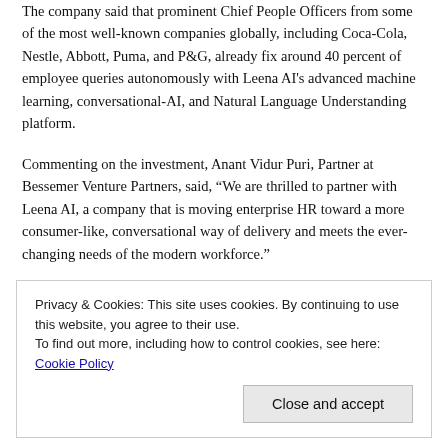The company said that prominent Chief People Officers from some of the most well-known companies globally, including Coca-Cola, Nestle, Abbott, Puma, and P&G, already fix around 40 percent of employee queries autonomously with Leena AI's advanced machine learning, conversational-AI, and Natural Language Understanding platform.
Commenting on the investment, Anant Vidur Puri, Partner at Bessemer Venture Partners, said, “We are thrilled to partner with Leena AI, a company that is moving enterprise HR toward a more consumer-like, conversational way of delivery and meets the ever-changing needs of the modern workforce.”
Privacy & Cookies: This site uses cookies. By continuing to use this website, you agree to their use.
To find out more, including how to control cookies, see here: Cookie Policy